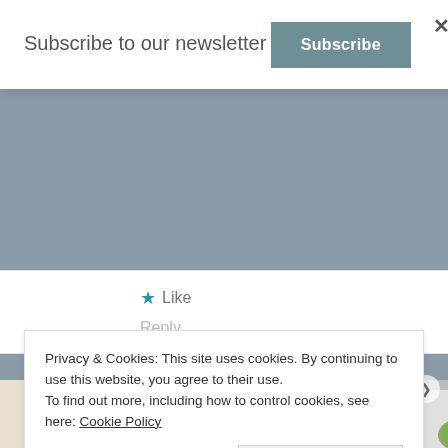Subscribe to our newsletter
Subscribe
Like
Reply
[Figure (screenshot): Explore options button with food/recipe app screenshot showing bowls of food and a mobile app interface on a beige background]
Privacy & Cookies: This site uses cookies. By continuing to use this website, you agree to their use.
To find out more, including how to control cookies, see here: Cookie Policy
Close and accept